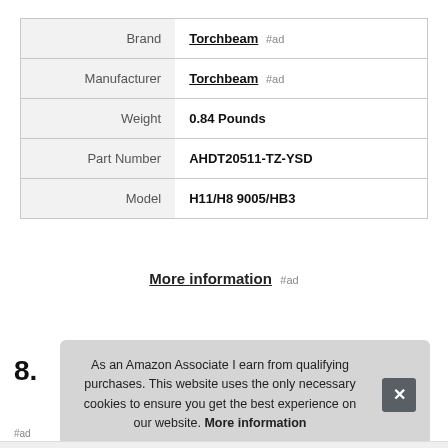| Label | Value |
| --- | --- |
| Brand | Torchbeam #ad |
| Manufacturer | Torchbeam #ad |
| Weight | 0.84 Pounds |
| Part Number | AHDT20511-TZ-YSD |
| Model | H11/H8 9005/HB3 |
More information #ad
8.
As an Amazon Associate I earn from qualifying purchases. This website uses the only necessary cookies to ensure you get the best experience on our website. More information